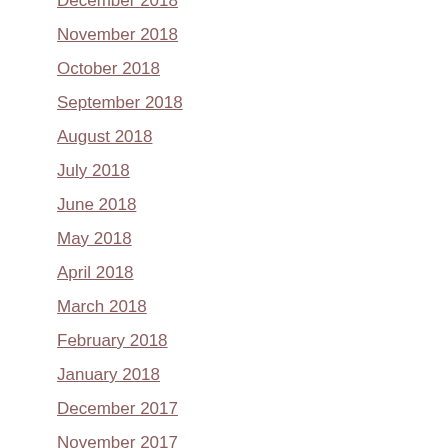December 2018
November 2018
October 2018
September 2018
August 2018
July 2018
June 2018
May 2018
April 2018
March 2018
February 2018
January 2018
December 2017
November 2017
October 2017
September 2017
August 2017
July 2017
June 2017